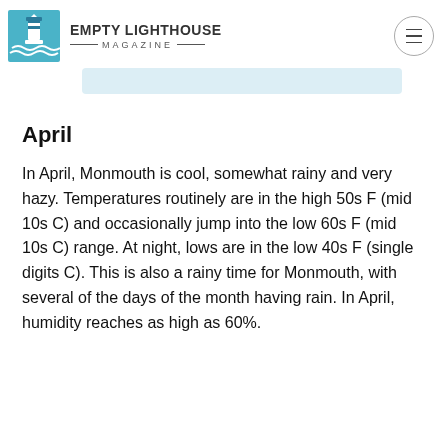EMPTY LIGHTHOUSE MAGAZINE
April
In April, Monmouth is cool, somewhat rainy and very hazy. Temperatures routinely are in the high 50s F (mid 10s C) and occasionally jump into the low 60s F (mid 10s C) range. At night, lows are in the low 40s F (single digits C). This is also a rainy time for Monmouth, with several of the days of the month having rain. In April, humidity reaches as high as 60%.